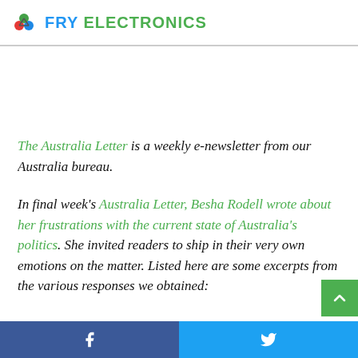FRY ELECTRONICS
The Australia Letter is a weekly e-newsletter from our Australia bureau.
In final week's Australia Letter, Besha Rodell wrote about her frustrations with the current state of Australia's politics. She invited readers to ship in their very own emotions on the matter. Listed here are some excerpts from the various responses we obtained:
How steadily have I lamented the dearth of educated and skilled statesmen and stateswomen on this nation with the
Facebook  Twitter